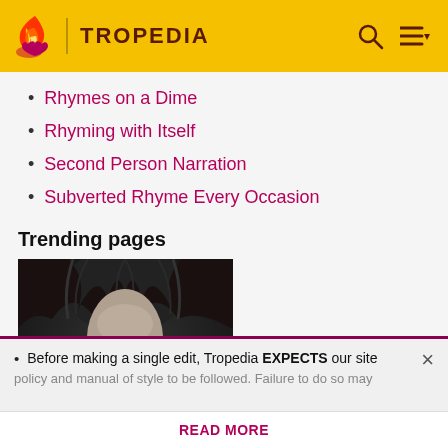TROPEDIA
Rhymes on a Dime
Rhyming with Itself
Second Person Narration
Subverted Rhyme Every Occasion
Trending pages
[Figure (photo): Grayscale portrait of a man with dark wild hair, likely Edgar Allan Poe]
Before making a single edit, Tropedia EXPECTS our site policy and manual of style to be followed. Failure to do so may
READ MORE